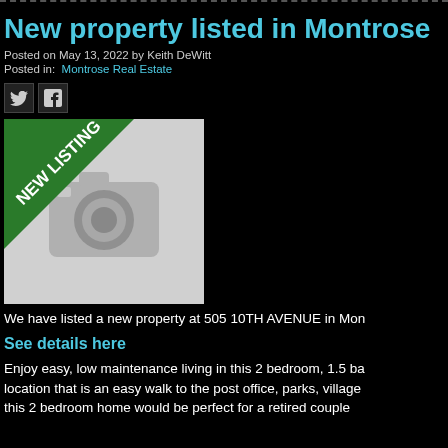New property listed in Montrose
Posted on May 13, 2022 by Keith DeWitt
Posted in: Montrose Real Estate
[Figure (illustration): New Listing placeholder image with camera icon and green diagonal banner reading NEW LISTING]
We have listed a new property at 505 10TH AVENUE in Mon
See details here
Enjoy easy, low maintenance living in this 2 bedroom, 1.5 ba... location that is an easy walk to the post office, parks, village ... this 2 bedroom home would be perfect for a retired couple